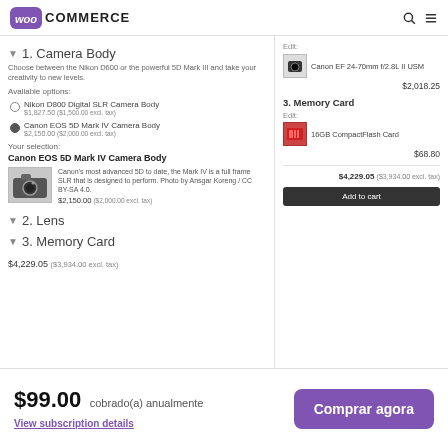WooCommerce
1. Camera Body
Choose between the Nikon D600 or the powerful 5D Mark III and take your creativity to new levels.
Available options:
Nikon D800 Digital SLR Camera Body – $1,827.50 ($1,500.00 excl. tax)
Canon EOS 5D Mark IV Camera Body – $2,150.00 ($2,000.00 excl. tax)
Your selection:
Canon EOS 5D Mark IV Camera Body
Canon's most advanced 5D to date, the Mark IV is a full frame SLR that is designed to perform. Photo by Ansgar Koreng / CC BY-SA 4.0.
$2,150.00 ($2,000.00 excl. tax)
2. Lens
3. Memory Card
$4,229.05 ($3,934.00 excl. tax)
Edit: Canon EF 24-70mm f/2.8L II USM – $2,018.25
3. Memory Card
Edit: 16GB CompactFlash Card – $68.80
$4,229.05 ($3,934.00 excl. tax) Add to cart
$99.00 cobrado(a) anualmente
View subscription details
Comprar agora